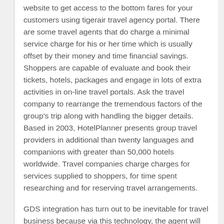website to get access to the bottom fares for your customers using tigerair travel agency portal. There are some travel agents that do charge a minimal service charge for his or her time which is usually offset by their money and time financial savings. Shoppers are capable of evaluate and book their tickets, hotels, packages and engage in lots of extra activities in on-line travel portals. Ask the travel company to rearrange the tremendous factors of the group's trip along with handling the bigger details. Based in 2003, HotelPlanner presents group travel providers in additional than twenty languages and companions with greater than 50,000 hotels worldwide. Travel companies charge charges for services supplied to shoppers, for time spent researching and for reserving travel arrangements.
GDS integration has turn out to be inevitable for travel business because via this technology, the agent will get consolidated inventories of all of the GDS listed airlines. Maintain options open; Flexibility is constructed into the